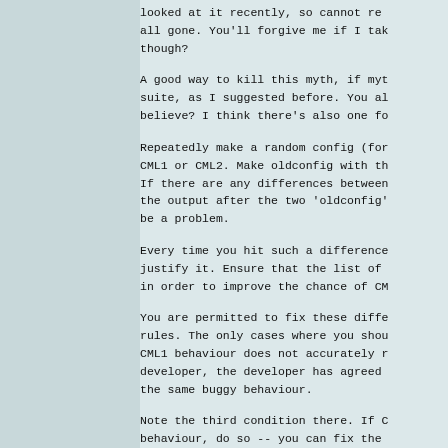looked at it recently, so cannot re all gone. You'll forgive me if I tak though?
A good way to kill this myth, if myt suite, as I suggested before. You al believe? I think there's also one fo
Repeatedly make a random config (for CML1 or CML2. Make oldconfig with th If there are any differences between the output after the two 'oldconfig' be a problem.
Every time you hit such a difference justify it. Ensure that the list of in order to improve the chance of CM
You are permitted to fix these diffe rules. The only cases where you shou CML1 behaviour does not accurately r developer, the developer has agreed the same buggy behaviour.
Note the third condition there. If C behaviour, do so -- you can fix the